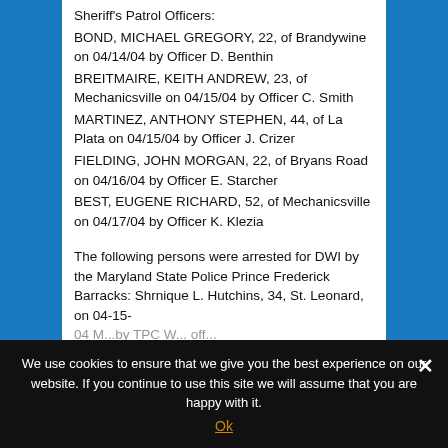Sheriff's Patrol Officers:
BOND, MICHAEL GREGORY, 22, of Brandywine on 04/14/04 by Officer D. Benthin
BREITMAIRE, KEITH ANDREW, 23, of Mechanicsville on 04/15/04 by Officer C. Smith
MARTINEZ, ANTHONY STEPHEN, 44, of La Plata on 04/15/04 by Officer J. Crizer
FIELDING, JOHN MORGAN, 22, of Bryans Road on 04/16/04 by Officer E. Starcher
BEST, EUGENE RICHARD, 52, of Mechanicsville on 04/17/04 by Officer K. Klezia
The following persons were arrested for DWI by the Maryland State Police Prince Frederick Barracks: Shrnique L. Hutchins, 34, St. Leonard, on 04-15-04 ...
We use cookies to ensure that we give you the best experience on our website. If you continue to use this site we will assume that you are happy with it.